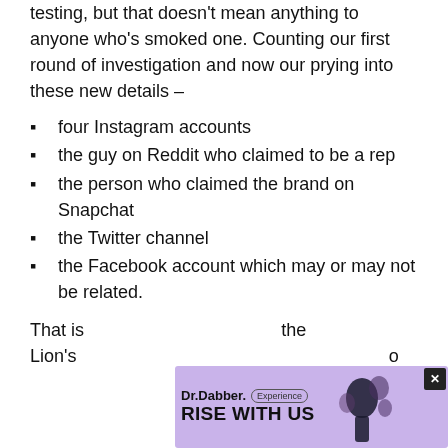testing, but that doesn't mean anything to anyone who's smoked one. Counting our first round of investigation and now our prying into these new details –
four Instagram accounts
the guy on Reddit who claimed to be a rep
the person who claimed the brand on Snapchat
the Twitter channel
the Facebook account which may or may not be related.
That is… the Lion's …o
[Figure (other): Dr.Dabber advertisement overlay with purple background showing 'RISE WITH US' slogan and a drink image with an X close button]